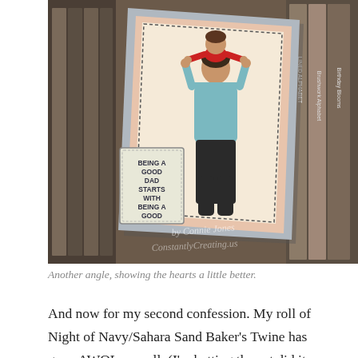[Figure (photo): A handmade greeting card displayed at an angle, showing an illustrated father with a child on his shoulders (child in red shirt, father in teal shirt and dark pants), set against a peach/salmon colored card background with stitched border detail. In front is a small tag reading 'BEING A GOOD DAD STARTS WITH BEING A GOOD MAN'. Books and binders are visible in the background. A watermark reads 'by Connie Jones' and 'ConstantlyCreating.us'.]
Another angle, showing the hearts a little better.
And now for my second confession. My roll of Night of Navy/Sahara Sand Baker's Twine has gone AWOL as well. (I'm betting the cat did it. She's been known to do so.) So I'm using most of